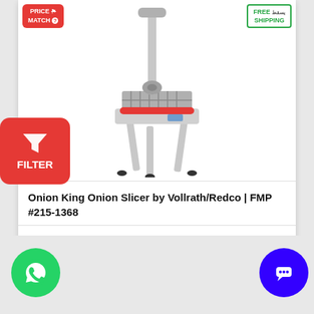[Figure (photo): Onion King Onion Slicer product photo - a stainless steel manual onion slicer/dicer on legs with a red handle and lever mechanism]
Onion King Onion Slicer by Vollrath/Redco | FMP #215-1368
$709.35
1  ADD TO CART